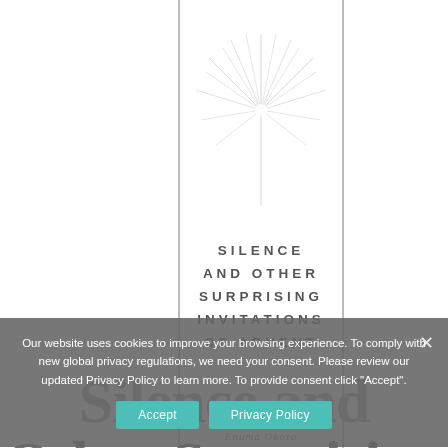[Figure (illustration): Book cover for 'Silence and Other Surprising Invitations of Advent' by Enuma Okoro. White cover with a decorative starburst/star ray graphic at top, vertical border lines framing the content, and the title in spaced capital letters below the star. Author name appears in italic script below the title.]
Our website uses cookies to improve your browsing experience. To comply with new global privacy regulations, we need your consent. Please review our updated Privacy Policy to learn more. To provide consent click "Accept".